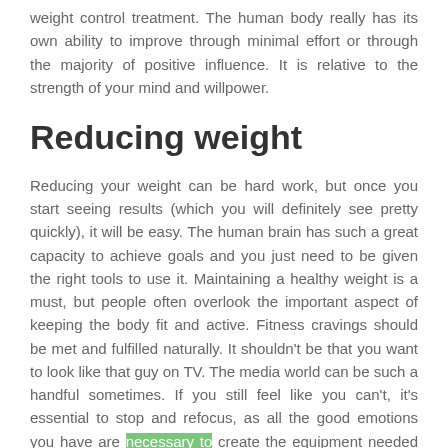weight control treatment. The human body really has its own ability to improve through minimal effort or through the majority of positive influence. It is relative to the strength of your mind and willpower.
Reducing weight
Reducing your weight can be hard work, but once you start seeing results (which you will definitely see pretty quickly), it will be easy. The human brain has such a great capacity to achieve goals and you just need to be given the right tools to use it. Maintaining a healthy weight is a must, but people often overlook the important aspect of keeping the body fit and active. Fitness cravings should be met and fulfilled naturally. It shouldn't be that you want to look like that guy on TV. The media world can be such a handful sometimes. If you still feel like you can't, it's essential to stop and refocus, as all the good emotions you have are necessary to create the equipment needed to reach your ultimate goal.